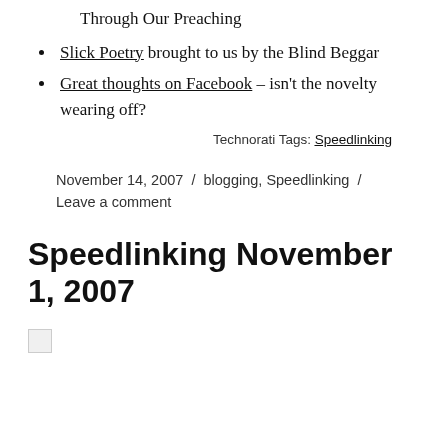Through Our Preaching
Slick Poetry brought to us by the Blind Beggar
Great thoughts on Facebook – isn't the novelty wearing off?
Technorati Tags: Speedlinking
November 14, 2007 / blogging, Speedlinking / Leave a comment
Speedlinking November 1, 2007